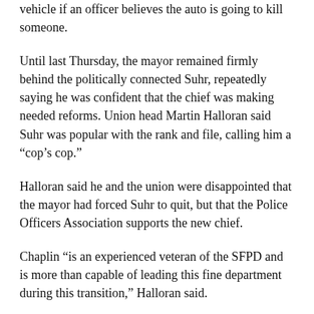vehicle if an officer believes the auto is going to kill someone.
Until last Thursday, the mayor remained firmly behind the politically connected Suhr, repeatedly saying he was confident that the chief was making needed reforms. Union head Martin Halloran said Suhr was popular with the rank and file, calling him a “cop’s cop.”
Halloran said he and the union were disappointed that the mayor had forced Suhr to quit, but that the Police Officers Association supports the new chief.
Chaplin “is an experienced veteran of the SFPD and is more than capable of leading this fine department during this transition,” Halloran said.
San Francisco has one of the sharpest disparities in the country between blacks and whites and the level of violence they experience.
In the 10 years that ended in 2014, a black male in San